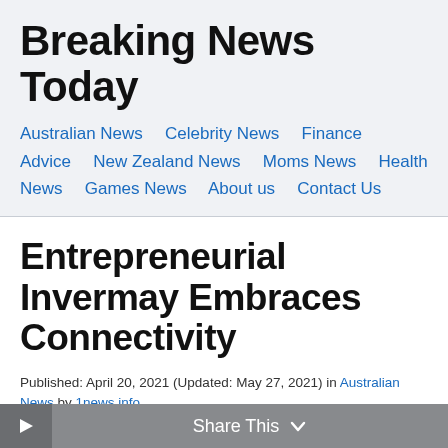Breaking News Today
Australian News   Celebrity News   Finance Advice   New Zealand News   Moms News   Health News   Games News   About us   Contact Us
Entrepreneurial Invermay Embraces Connectivity
Published: April 20, 2021 (Updated: May 27, 2021) in Australian News by 1news.info.
Share This